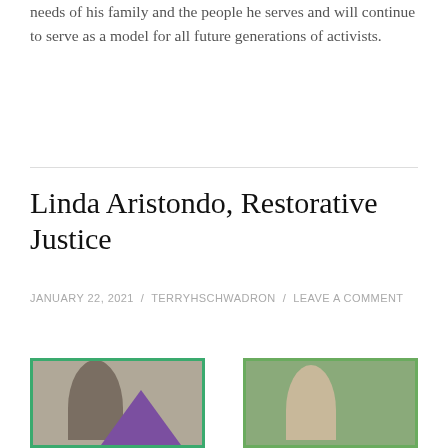needs of his family and the people he serves and will continue to serve as a model for all future generations of activists.
Linda Aristondo, Restorative Justice
JANUARY 22, 2021 / TERRYHSCHWADRON / LEAVE A COMMENT
[Figure (photo): Two portrait photos side by side, each with a colored border (green). Left photo shows a person with dark hair and a purple triangle graphic overlay. Right photo shows a person outdoors with greenery in background.]